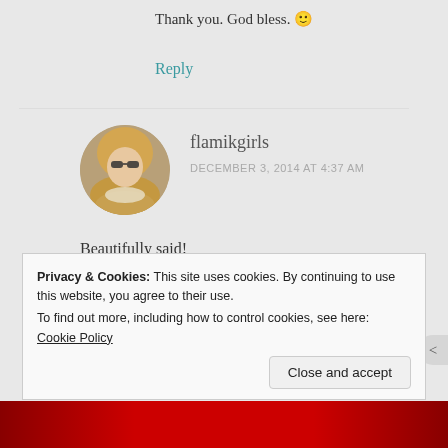Thank you. God bless. 🙂
Reply
flamikgirls
DECEMBER 3, 2014 AT 4:37 AM
Beautifully said!
Reply
Privacy & Cookies: This site uses cookies. By continuing to use this website, you agree to their use.
To find out more, including how to control cookies, see here: Cookie Policy
Close and accept